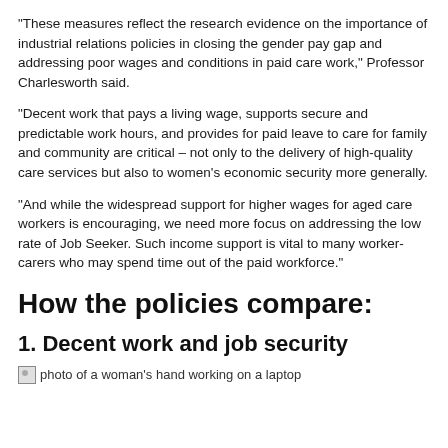“These measures reflect the research evidence on the importance of industrial relations policies in closing the gender pay gap and addressing poor wages and conditions in paid care work,” Professor Charlesworth said.
“Decent work that pays a living wage, supports secure and predictable work hours, and provides for paid leave to care for family and community are critical – not only to the delivery of high-quality care services but also to women’s economic security more generally.
“And while the widespread support for higher wages for aged care workers is encouraging, we need more focus on addressing the low rate of Job Seeker. Such income support is vital to many worker-carers who may spend time out of the paid workforce.”
How the policies compare:
1. Decent work and job security
[Figure (photo): photo of a woman's hand working on a laptop]